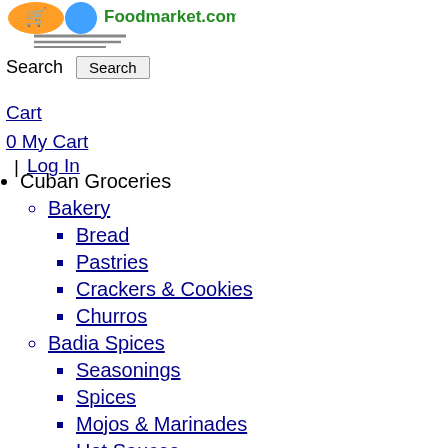[Figure (logo): Foodmarket.com logo with shopping cart icon and stylized fork/spoon graphic]
Search  [Search button]
Cart
0 My Cart
  |   Log In
Cuban Groceries
Bakery
Bread
Pastries
Crackers & Cookies
Churros
Badia Spices
Seasonings
Spices
Mojos & Marinades
Hot Sauces
Teas
Others
Coffee, Beverages & Teas
Chocolate & Other
Coffee Regular
Coffee Instant